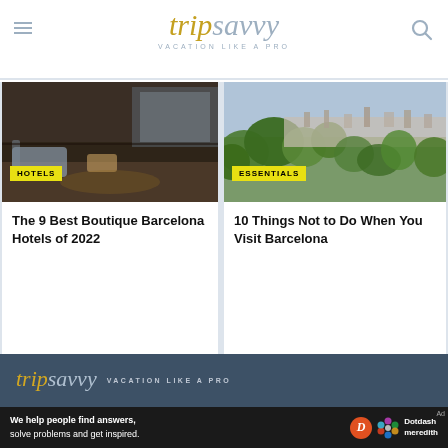tripsavvy VACATION LIKE A PRO
[Figure (screenshot): Hotel interior with dark wood floors, lounge chairs, and ambient lighting]
HOTELS
The 9 Best Boutique Barcelona Hotels of 2022
[Figure (photo): Aerial view of Barcelona cityscape with green trees in foreground]
ESSENTIALS
10 Things Not to Do When You Visit Barcelona
[Figure (logo): TripSavvy logo with tagline VACATION LIKE A PRO on dark blue background]
GET OUR TRAVEL TIPS TO YOUR INBOX
We help people find answers, solve problems and get inspired. Dotdash meredith